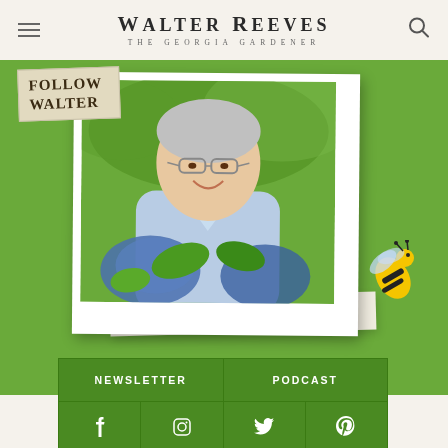Walter Reeves — The Georgia Gardener
[Figure (photo): Green background section with 'Follow Walter' tag and a polaroid-style photo of Walter Reeves, a middle-aged man with gray hair and glasses wearing a light blue shirt, surrounded by blue hydrangea flowers. A bee illustration is in the lower right.]
FOLLOW WALTER
NEWSLETTER
PODCAST
ADVERTISEMENT